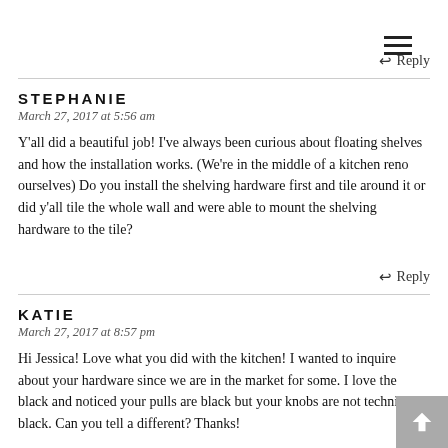≡
↩ Reply
STEPHANIE
March 27, 2017 at 5:56 am
Y'all did a beautiful job! I've always been curious about floating shelves and how the installation works. (We're in the middle of a kitchen reno ourselves) Do you install the shelving hardware first and tile around it or did y'all tile the whole wall and were able to mount the shelving hardware to the tile?
↩ Reply
KATIE
March 27, 2017 at 8:57 pm
Hi Jessica! Love what you did with the kitchen! I wanted to inquire about your hardware since we are in the market for some. I love the black and noticed your pulls are black but your knobs are not technically black. Can you tell a different? Thanks!